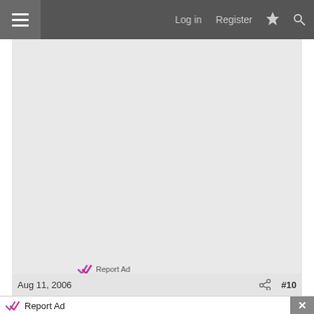Log in  Register
[Figure (other): Empty grey advertisement placeholder area with 'Report Ad' link at bottom]
Report Ad
Aug 11, 2006  #10
Report Ad
[Figure (other): Advertisement banner showing McAlister's Deli with checkmarks for Dine-in and Curbside pickup, with navigation arrow icon]